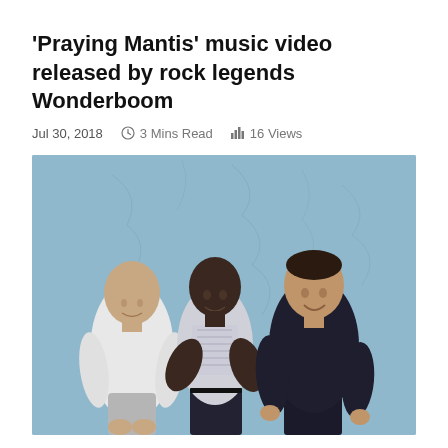'Praying Mantis' music video released by rock legends Wonderboom
Jul 30, 2018   ⏱ 3 Mins Read   📊 16 Views
[Figure (photo): Three men standing against a blue textured wall. Left: bald man in white v-neck t-shirt and grey jeans. Center: Black man in patterned short-sleeve shirt with arms crossed. Right: man in black t-shirt with dark hair pulled back.]
New Stone Jets Music Video Released